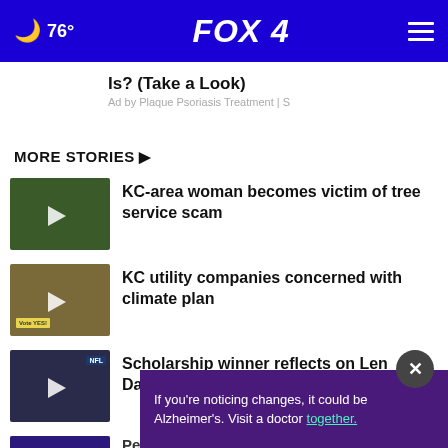🌙 76° FOX 4
Is? (Take a Look)
Ad by Plaque Psoriasis Treatment | S
MORE STORIES ▶
KC-area woman becomes victim of tree service scam
KC utility companies concerned with climate plan
Scholarship winner reflects on Len Dawson's legacy
Person struck killed by twin in...
If you're noticing changes, it could be Alzheimer's. Visit a doctor together.